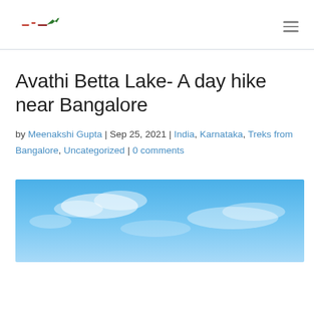Travel blog logo and navigation menu
Avathi Betta Lake- A day hike near Bangalore
by Meenakshi Gupta | Sep 25, 2021 | India, Karnataka, Treks from Bangalore, Uncategorized | 0 comments
[Figure (photo): Blue sky with light clouds, partial view of outdoor landscape near Avathi Betta Lake]